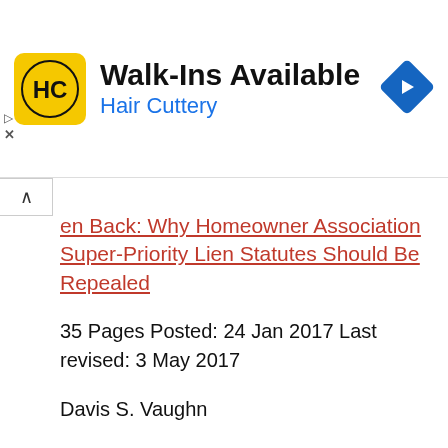[Figure (other): Hair Cuttery advertisement banner with logo, Walk-Ins Available text, and navigation arrow icon]
en Back: Why Homeowner Association Super-Priority Lien Statutes Should Be Repealed
35 Pages Posted: 24 Jan 2017 Last revised: 3 May 2017
Davis S. Vaughn
University of Mississippi, School of Law
Date Written: 2017
https://papers.ssrn.com/sol3/papers.cfm?abstract_id=2903577